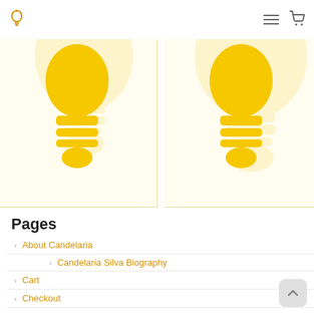[Figure (illustration): Two lightbulb icons (golden/yellow) side by side with large faint lightbulb background watermarks. Left card and right card each show a prominent golden lightbulb icon against a light yellow background.]
Pages
About Candelaria
Candelaria Silva Biography
Cart
Checkout
Consultant
Selected Clients
My Account
Panels & Interviews